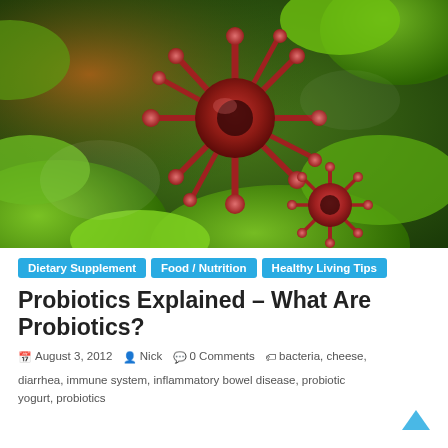[Figure (photo): Microscopic 3D illustration of red virus/bacteria cells with spiky protrusions among green bacterial cells, representing probiotics or gut microbiome]
Dietary Supplement
Food / Nutrition
Healthy Living Tips
Probiotics Explained – What Are Probiotics?
August 3, 2012   Nick   0 Comments   bacteria, cheese, diarrhea, immune system, inflammatory bowel disease, probiotic yogurt, probiotics